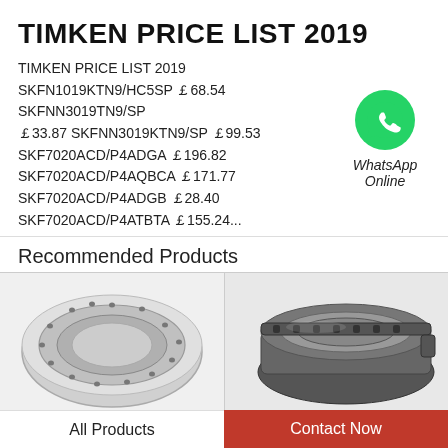TIMKEN PRICE LIST 2019
TIMKEN PRICE LIST 2019 SKFN1019KTN9/HC5SP ￡68.54 SKFNN3019TN9/SP ￡33.87 SKFNN3019KTN9/SP ￡99.53 SKF7020ACD/P4ADGA ￡196.82 SKF7020ACD/P4AQBCA ￡171.77 SKF7020ACD/P4ADGB ￡28.40 SKF7020ACD/P4ATBTA ￡155.24...
[Figure (logo): WhatsApp Online green icon with phone symbol]
Recommended Products
[Figure (photo): Industrial slewing ring bearing, silver/steel, flat ring with bolt holes, photographed on white background]
[Figure (photo): Industrial slewing ring bearing, darker steel, with raised flange and bolt holes, photographed on white background]
All Products
Contact Now